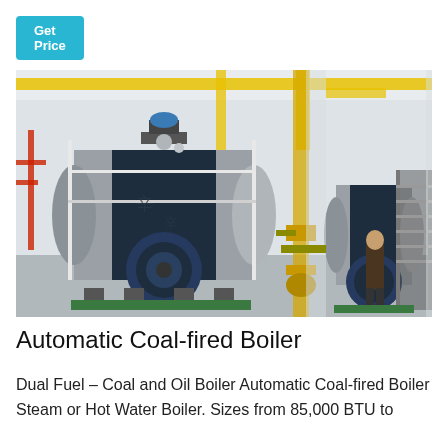Get Price
[Figure (photo): Industrial boiler room with large cylindrical coal-fired boilers in dark blue/grey color, yellow overhead gas pipes, red piping along walls, metal scaffolding structures, and a person standing near the right boiler. The facility has a clean white interior with concrete columns.]
Automatic Coal-fired Boiler
Dual Fuel – Coal and Oil Boiler Automatic Coal-fired Boiler Steam or Hot Water Boiler. Sizes from 85,000 BTU to